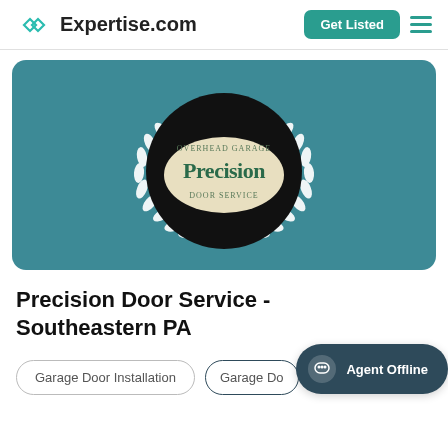Expertise.com
[Figure (logo): Precision Door Service logo inside black circle with laurel wreath on teal background]
Precision Door Service - Southeastern PA
Garage Door Installation
Garage Do...
Agent Offline